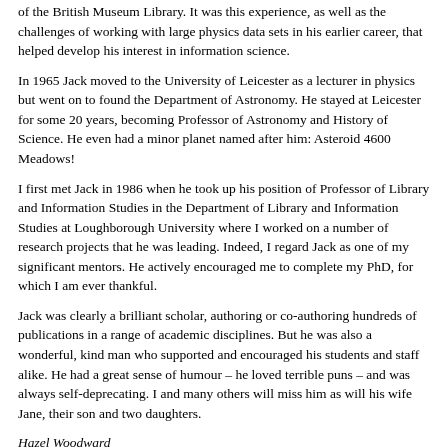of the British Museum Library. It was this experience, as well as the challenges of working with large physics data sets in his earlier career, that helped develop his interest in information science.
In 1965 Jack moved to the University of Leicester as a lecturer in physics but went on to found the Department of Astronomy. He stayed at Leicester for some 20 years, becoming Professor of Astronomy and History of Science. He even had a minor planet named after him: Asteroid 4600 Meadows!
I first met Jack in 1986 when he took up his position of Professor of Library and Information Studies in the Department of Library and Information Studies at Loughborough University where I worked on a number of research projects that he was leading. Indeed, I regard Jack as one of my significant mentors. He actively encouraged me to complete my PhD, for which I am ever thankful.
Jack was clearly a brilliant scholar, authoring or co-authoring hundreds of publications in a range of academic disciplines. But he was also a wonderful, kind man who supported and encouraged his students and staff alike. He had a great sense of humour – he loved terrible puns – and was always self-deprecating. I and many others will miss him as will his wife Jane, their son and two daughters.
Hazel Woodward